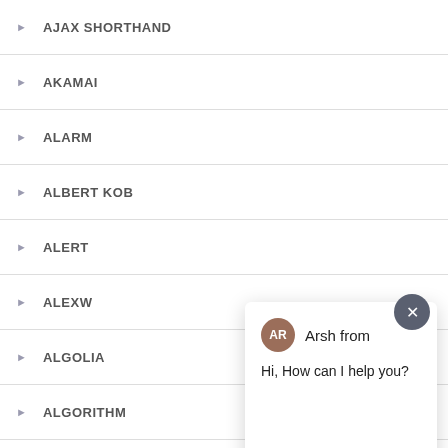AJAX SHORTHAND
AKAMAI
ALARM
ALBERT KOB
ALERT
ALEXW
ALGOLIA
ALGORITHM
ALGORITHMS
[Figure (screenshot): Chat popup with avatar 'AR' for Arsh, message 'Hi, How can I help you?', and a text input field with placeholder 'Type your message' and a send arrow button]